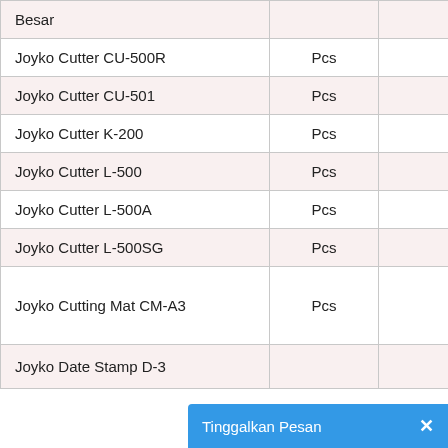| Besar |  |  |
| --- | --- | --- |
| Joyko Cutter CU-500R | Pcs | 16.700 |
| Joyko Cutter CU-501 | Pcs | 15.200 |
| Joyko Cutter K-200 | Pcs | 4.300 |
| Joyko Cutter L-500 | Pcs | 12.600 |
| Joyko Cutter L-500A | Pcs | 12.100 |
| Joyko Cutter L-500SG | Pcs | 17.000 |
| Joyko Cutting Mat CM-A3 | Pcs | 61.800 |
| Joyko Date Stamp D-3 |  |  |
Tinggalkan Pesan ×